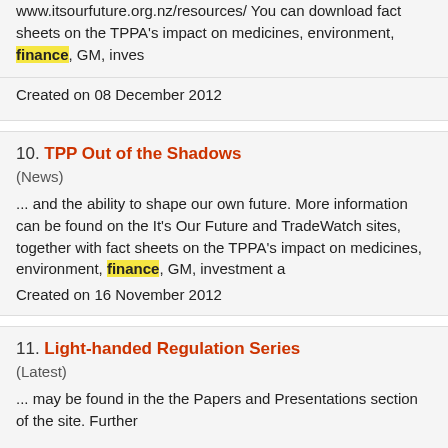www.itsourfuture.org.nz/resources/ You can download fact sheets on the TPPA's impact on medicines, environment, finance, GM, inves...
Created on 08 December 2012
10. TPP Out of the Shadows
(News)
... and the ability to shape our own future. More information can be found on the It's Our Future and TradeWatch sites, together with fact sheets on the TPPA's impact on medicines, environment, finance, GM, investment a...
Created on 16 November 2012
11. Light-handed Regulation Series
(Latest)
... may be found in the the Papers and Presentations section of the site. Further...